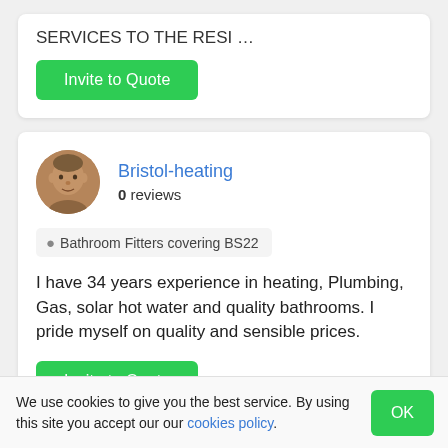SERVICES TO THE RESI …
Invite to Quote
Bristol-heating
0 reviews
Bathroom Fitters covering BS22
I have 34 years experience in heating, Plumbing, Gas, solar hot water and quality bathrooms. I pride myself on quality and sensible prices.
Invite to Quote
We use cookies to give you the best service. By using this site you accept our our cookies policy.